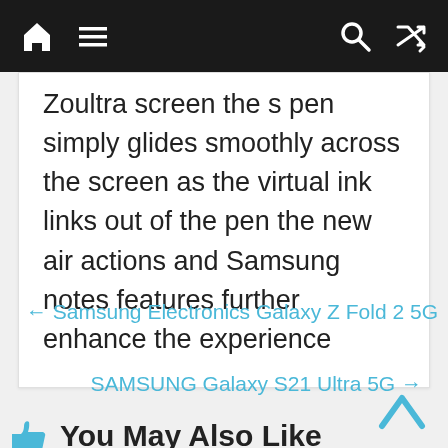[navigation bar with home, menu, search, shuffle icons]
Zoultra screen the s pen simply glides smoothly across the screen as the virtual ink links out of the pen the new air actions and Samsung notes features further enhance the experience
← Samsung Electronics Galaxy Z Fold 2 5G
SAMSUNG Galaxy S21 Ultra 5G →
You May Also Like